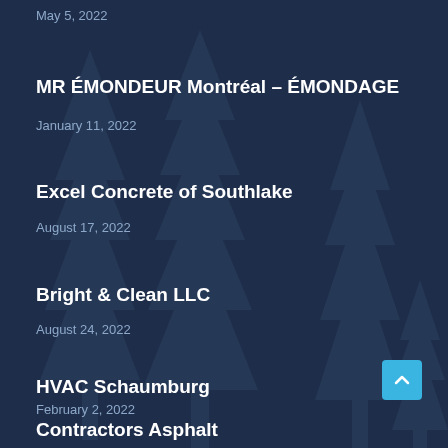May 5, 2022
MR ÉMONDEUR Montréal – ÉMONDAGE
January 11, 2022
Excel Concrete of Southlake
August 17, 2022
Bright & Clean LLC
August 24, 2022
HVAC Schaumburg
February 2, 2022
Contractors Asphalt